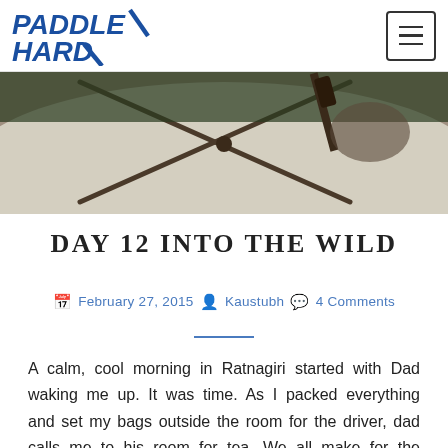PADDLE HARD
[Figure (photo): Close-up photo of a kayak deck with bungee cords in an X pattern, person holding a paddle in background]
DAY 12 INTO THE WILD
February 27, 2015  Kaustubh  4 Comments
A calm, cool morning in Ratnagiri started with Dad waking me up. It was time. As I packed everything and set my bags outside the room for the driver, dad calls me to his room for tea. We all make for the dining